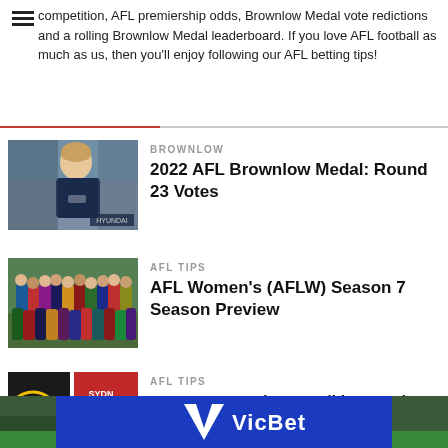competition, AFL premiership odds, Brownlow Medal vote redictions and a rolling Brownlow Medal leaderboard. If you love AFL football as much as us, then you'll enjoy following our AFL betting tips!
[Figure (photo): AFL player in Carlton navy blue jersey looking to the side, crowd in background]
BROWNLOW
2022 AFL Brownlow Medal: Round 23 Votes
[Figure (photo): Group photo of AFL Women's players from multiple teams in various coloured uniforms]
AFL TIPS
AFL Women's (AFLW) Season 7 Season Preview
[Figure (photo): St Kilda and Sydney team badges/logos side by side]
AFL TIPS
2022 AFL Round 23: St Kilda vs Sydney Preview & Betting
[Figure (logo): VicBet logo banner in blue with green sides and checkmark]